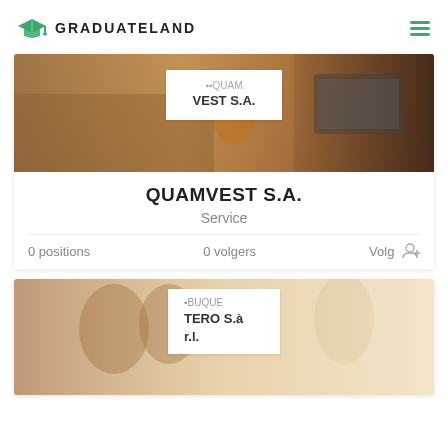[Figure (logo): GraduateLand logo with green mortarboard icon and text GRADUATELAND]
[Figure (screenshot): Company card for QUAMVEST S.A. with banner photo of people working, company logo overlay, 0 positions, 0 volgers, Volg button]
QUAMVEST S.A.
Service
0 positions    0 volgers    Volg
[Figure (screenshot): Partial company card for BUQUETERO S.à r.l. with banner photo of people in office meeting]